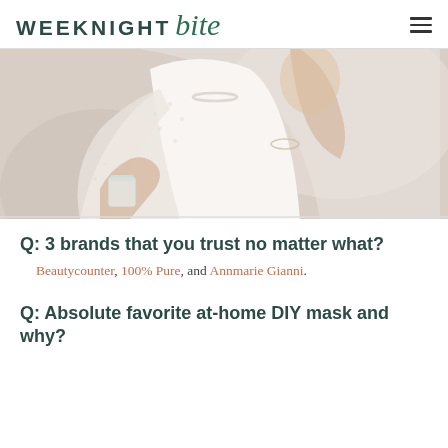WEEKNIGHT bite
[Figure (photo): Woman in white dotted sheer top and pearl necklace holding a small glass jar, applying or showing beauty/skincare product.]
Q: 3 brands that you trust no matter what?
Beautycounter, 100% Pure, and Annmarie Gianni.
Q: Absolute favorite at-home DIY mask and why?